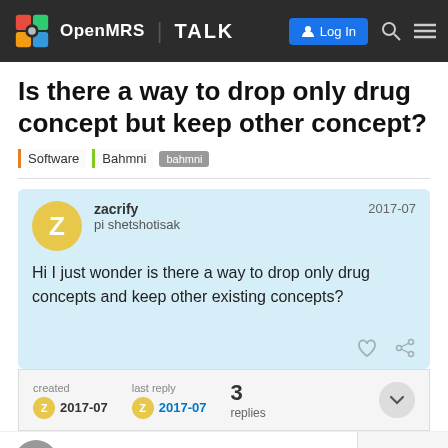OpenMRS | TALK — Log In
Is there a way to drop only drug concept but keep other concept?
Software | Bahmni | bahmni
zacrify pi shetshotisak 2017-07
Hi I just wonder is there a way to drop only drug concepts and keep other existing concepts?
created 2017-07   last reply 2017-07   3 replies
akanter   1 / 4